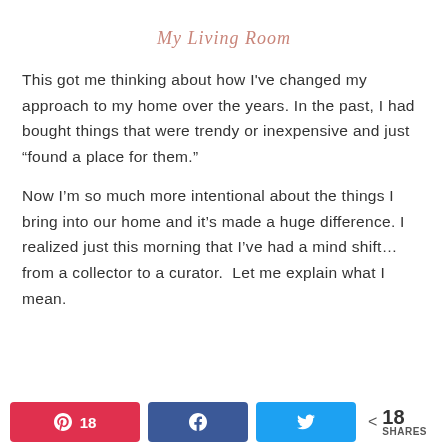My Living Room
This got me thinking about how I've changed my approach to my home over the years. In the past, I had bought things that were trendy or inexpensive and just “found a place for them.”
Now I’m so much more intentional about the things I bring into our home and it’s made a huge difference. I realized just this morning that I’ve had a mind shift… from a collector to a curator.  Let me explain what I mean.
Pinterest 18 | Facebook share | Twitter share | < 18 SHARES